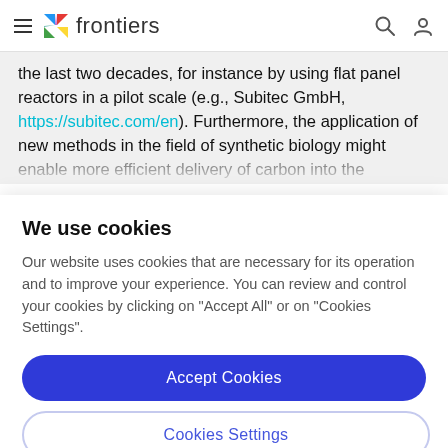frontiers
the last two decades, for instance by using flat panel reactors in a pilot scale (e.g., Subitec GmbH, https://subitec.com/en). Furthermore, the application of new methods in the field of synthetic biology might enable more efficient delivery of carbon into the
We use cookies
Our website uses cookies that are necessary for its operation and to improve your experience. You can review and control your cookies by clicking on "Accept All" or on "Cookies Settings".
Accept Cookies
Cookies Settings